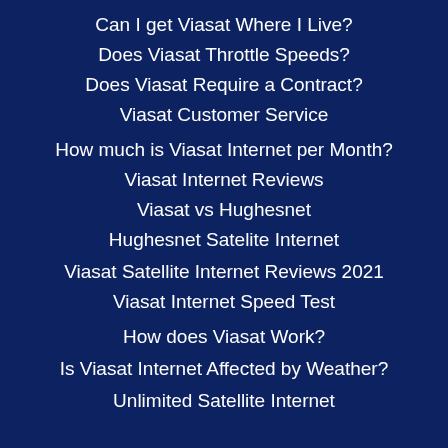Can I get Viasat Where I Live?
Does Viasat Throttle Speeds?
Does Viasat Require a Contract?
Viasat Customer Service
How much is Viasat Internet per Month?
Viasat Internet Reviews
Viasat vs Hughesnet
Hughesnet Satelite Internet
Viasat Satellite Internet Reviews 2021
Viasat Internet Speed Test
How does Viasat Work?
Is Viasat Internet Affected by Weather?
Unlimited Satellite Internet